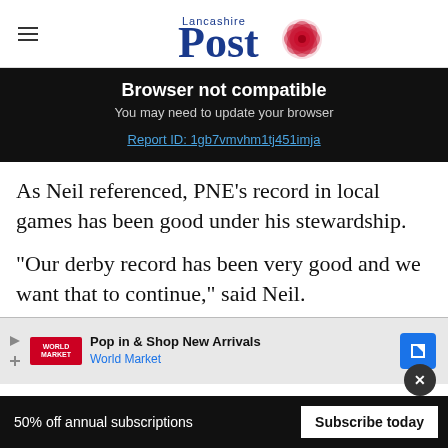Lancashire Post
Browser not compatible
You may need to update your browser
Report ID: 1gb7vmvhm1tj451imja
As Neil referenced, PNE’s record in local games has been good under his stewardship.
“Our derby record has been very good and we want that to continue,” said Neil.
[Figure (other): Advertisement banner: Pop in & Shop New Arrivals - World Market]
“This is a crucial game for a variety of reasons
50% off annual subscriptions   Subscribe today